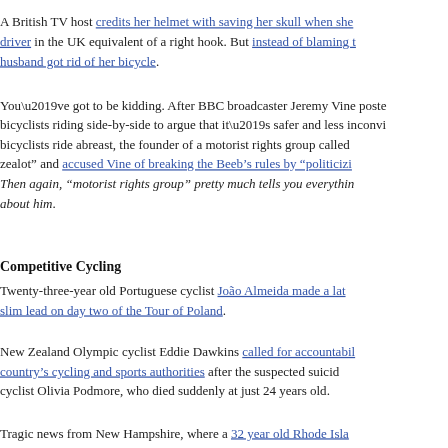A British TV host credits her helmet with saving her skull when she [was hit by a] driver in the UK equivalent of a right hook. But instead of blaming the driver, her husband got rid of her bicycle.
You’ve got to be kidding. After BBC broadcaster Jeremy Vine posted a video of bicyclists riding side-by-side to argue that it’s safer and less inconvenient to have bicyclists ride abreast, the founder of a motorist rights group called him a “cycling zealot” and accused Vine of breaking the Beeb’s rules by “politicizing” his post. Then again, “motorist rights group” pretty much tells you everything you need to know about him.
Competitive Cycling
Twenty-three-year old Portuguese cyclist João Almeida made a late attack to slim lead on day two of the Tour of Poland.
New Zealand Olympic cyclist Eddie Dawkins called for accountability from the country’s cycling and sports authorities after the suspected suicide of Olympic cyclist Olivia Podmore, who died suddenly at just 24 years old.
Tragic news from New Hampshire, where a 32-year-old Rhode Is[land]...